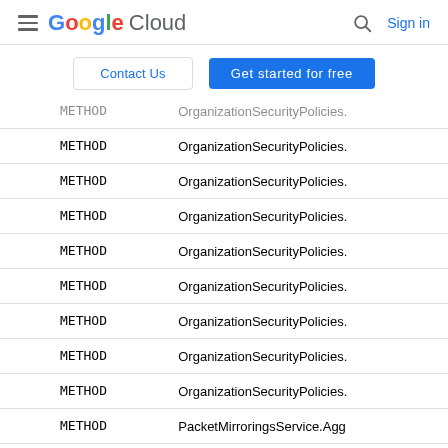Google Cloud | Sign in
Contact Us | Get started for free
| Type | Name |
| --- | --- |
| METHOD | OrganizationSecurityPolicies... |
| METHOD | OrganizationSecurityPolicies... |
| METHOD | OrganizationSecurityPolicies... |
| METHOD | OrganizationSecurityPolicies... |
| METHOD | OrganizationSecurityPolicies... |
| METHOD | OrganizationSecurityPolicies... |
| METHOD | OrganizationSecurityPolicies... |
| METHOD | OrganizationSecurityPolicies... |
| METHOD | OrganizationSecurityPolicies... |
| METHOD | PacketMirroringsService.Agg |